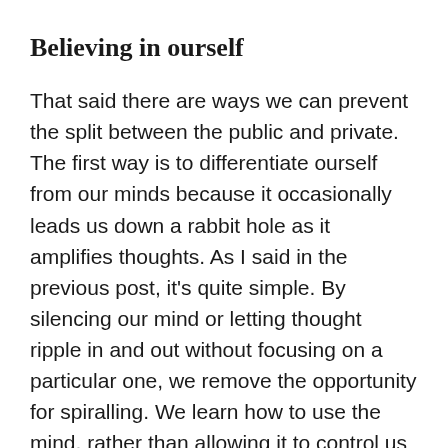Believing in ourself
That said there are ways we can prevent the split between the public and private. The first way is to differentiate ourself from our minds because it occasionally leads us down a rabbit hole as it amplifies thoughts. As I said in the previous post, it's quite simple. By silencing our mind or letting thought ripple in and out without focusing on a particular one, we remove the opportunity for spiralling. We learn how to use the mind, rather than allowing it to control us all the time.